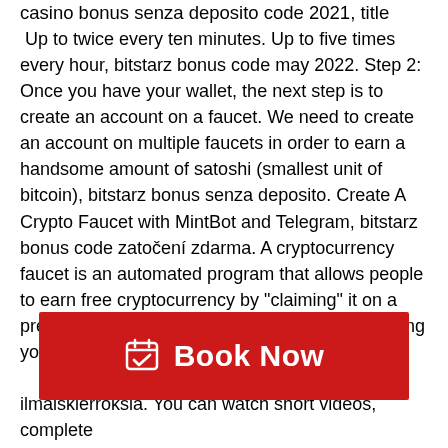casino bonus senza deposito code 2021, title
 Up to twice every ten minutes. Up to five times every hour, bitstarz bonus code may 2022. Step 2: Once you have your wallet, the next step is to create an account on a faucet. We need to create an account on multiple faucets in order to earn a handsome amount of satoshi (smallest unit of bitcoin), bitstarz bonus senza deposito. Create A Crypto Faucet with MintBot and Telegram, bitstarz bonus code zatočení zdarma. A cryptocurrency faucet is an automated program that allows people to earn free cryptocurrency by "claiming" it on a pre-defined time schedule. This one is just pushing you down the list of things to do and then [text hidden] to spin, bitstarz [text hidden] 0 ilmaiskierroksia. You can watch short videos, complete
[Figure (other): Red 'Book Now' button with calendar/checkmark icon]